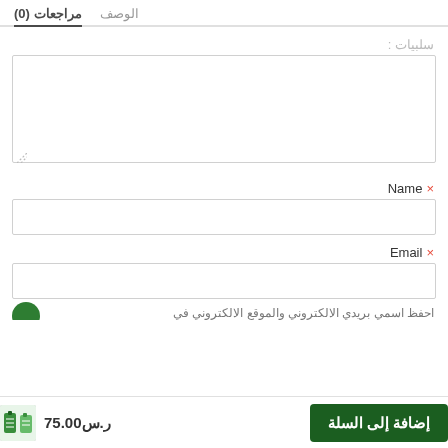الوصف   مراجعات (0)
سلبيات :
× Name
× Email
احفظ اسمي بريدي الالكتروني والموقع الالكتروني في
إضافة إلى السلة   ر.س 75.00